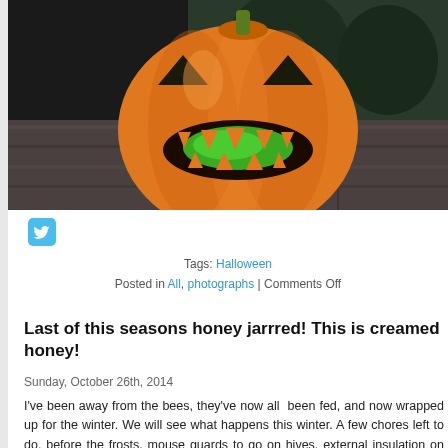[Figure (photo): Carved Halloween jack-o-lantern pumpkin sitting on a wooden surface, with a dark background. The pumpkin has a wide carved grin with triangular teeth and triangular eyes with a glowing green pepper/object visible through the mouth opening.]
[Figure (logo): Twitter bird logo icon in blue, used as a social sharing button.]
Tags: Halloween
Posted in All, photographs | Comments Off
Last of this seasons honey jarrred! This is creamed honey!
Sunday, October 26th, 2014
I've been away from the bees, they've now all  been fed, and now wrapped up for the winter. We will see what happens this winter. A few chores left to do, before the frosts, mouse guards to go on hives, external insulation on some of the hives, and finally this year treatment, nearer Christmas Day, a trickle of oxalic acid, to knock down the remainder of varroa mites.